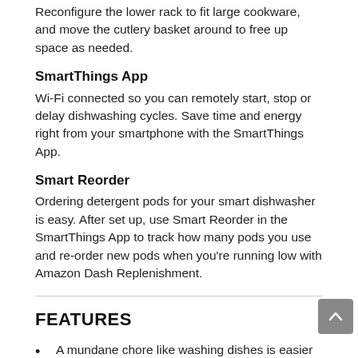Reconfigure the lower rack to fit large cookware, and move the cutlery basket around to free up space as needed.
SmartThings App
Wi-Fi connected so you can remotely start, stop or delay dishwashing cycles. Save time and energy right from your smartphone with the SmartThings App.
Smart Reorder
Ordering detergent pods for your smart dishwasher is easy. After set up, use Smart Reorder in the SmartThings App to track how many pods you use and re-order new pods when you're running low with Amazon Dash Replenishment.
FEATURES
A mundane chore like washing dishes is easier and more effective with a washing system that has dual wash arms and a spray jet that blasts water at high